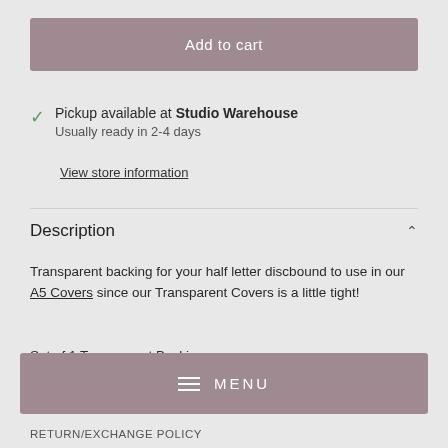Add to cart
Pickup available at Studio Warehouse
Usually ready in 2-4 days
View store information
Description
Transparent backing for your half letter discbound to use in our A5 Covers since our Transparent Covers is a little tight!
Set of 1 Transparent Backing
Size: 6.125" x 8.875"
Thickness: 1mm
MENU
RETURN/EXCHANGE POLICY